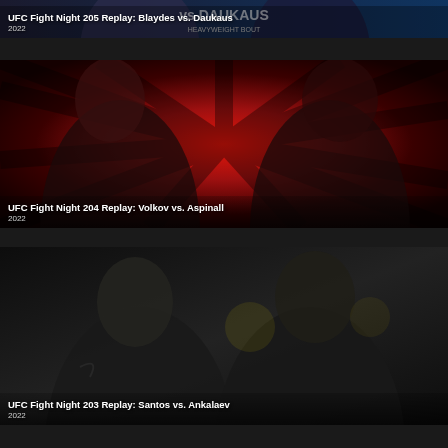[Figure (photo): UFC Fight Night 205 Replay: Blaydes vs. Daukaus promotional image, partially visible at top of page, dark blue background with fighter faces and vs. DAUKAUS text, HEAVYWEIGHT BOUT label]
UFC Fight Night 205 Replay: Blaydes vs. Daukaus
2022
[Figure (photo): UFC Fight Night 204 Replay: Volkov vs. Aspinall promotional image, red background with black radiating stripe pattern, two fighters facing each other]
UFC Fight Night 204 Replay: Volkov vs. Aspinall
2022
[Figure (photo): UFC Fight Night 203 Replay: Santos vs. Ankalaev promotional image, dark background showing two fighters facing each other]
UFC Fight Night 203 Replay: Santos vs. Ankalaev
2022